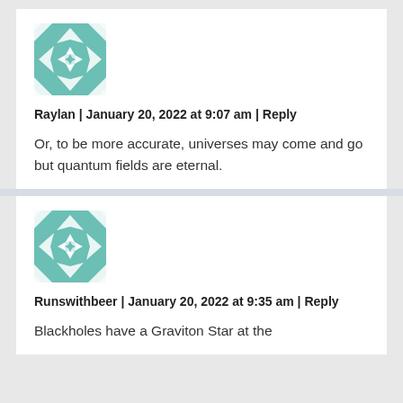[Figure (illustration): Teal and white geometric quilt-pattern avatar icon for user Raylan]
Raylan | January 20, 2022 at 9:07 am | Reply
Or, to be more accurate, universes may come and go but quantum fields are eternal.
[Figure (illustration): Teal and white geometric quilt-pattern avatar icon for user Runswithbeer]
Runswithbeer | January 20, 2022 at 9:35 am | Reply
Blackholes have a Graviton Star at the